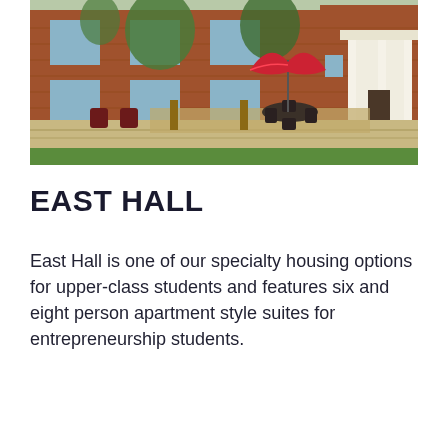[Figure (photo): Exterior photo of East Hall, a red brick university building with white columns at the entrance, surrounded by green lawn. In the foreground is a raised stone patio with black wrought-iron outdoor furniture and a red patio umbrella. Trees are visible in the background.]
EAST HALL
East Hall is one of our specialty housing options for upper-class students and features six and eight person apartment style suites for entrepreneurship students.